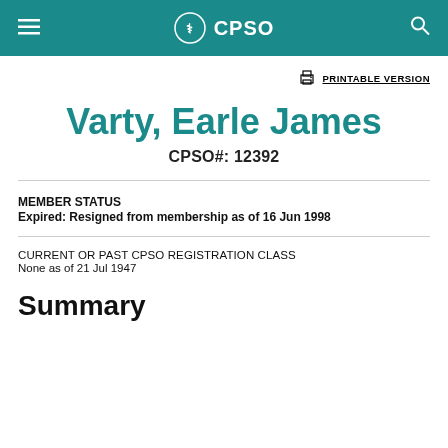CPSO
PRINTABLE VERSION
Varty, Earle James
CPSO#: 12392
MEMBER STATUS
Expired: Resigned from membership as of 16 Jun 1998
CURRENT OR PAST CPSO REGISTRATION CLASS
None as of 21 Jul 1947
Summary